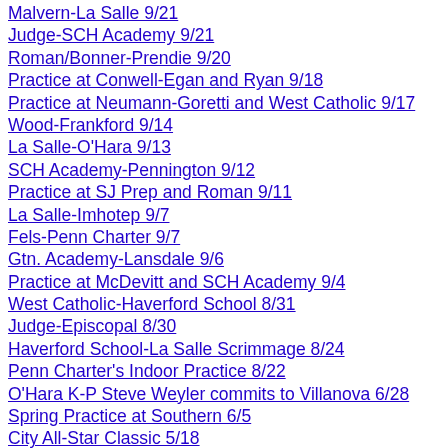Malvern-La Salle  9/21
Judge-SCH Academy  9/21
Roman/Bonner-Prendie  9/20
Practice at Conwell-Egan and Ryan  9/18
Practice at Neumann-Goretti and West Catholic  9/17
Wood-Frankford  9/14
La Salle-O'Hara  9/13
SCH Academy-Pennington  9/12
Practice at SJ Prep and Roman  9/11
La Salle-Imhotep  9/7
Fels-Penn Charter  9/7
Gtn. Academy-Lansdale  9/6
Practice at McDevitt and SCH Academy  9/4
West Catholic-Haverford School  8/31
Judge-Episcopal  8/30
Haverford School-La Salle Scrimmage  8/24
Penn Charter's Indoor Practice  8/22
O'Hara K-P Steve Weyler commits to Villanova  6/28
Spring Practice at Southern  6/5
City All-Star Classic  5/18
Anthony Walters Feted at O'Hara  3/20